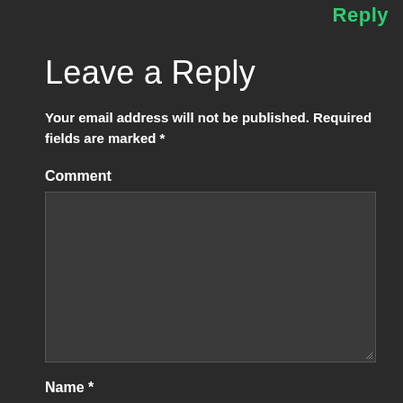Reply
Leave a Reply
Your email address will not be published. Required fields are marked *
Comment
[Figure (screenshot): Comment text area input box, dark background, with resize handle at bottom right]
Name *